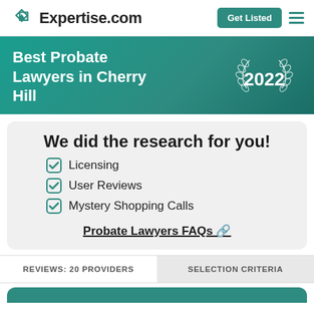Expertise.com
Best Probate Lawyers in Cherry Hill 2022
We did the research for you!
Licensing
User Reviews
Mystery Shopping Calls
Probate Lawyers FAQs 🔗
REVIEWS: 20 PROVIDERS
SELECTION CRITERIA